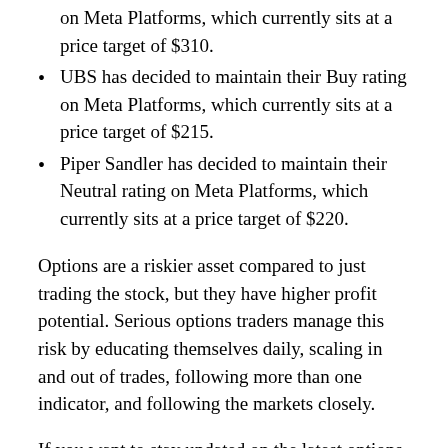on Meta Platforms, which currently sits at a price target of $310.
UBS has decided to maintain their Buy rating on Meta Platforms, which currently sits at a price target of $215.
Piper Sandler has decided to maintain their Neutral rating on Meta Platforms, which currently sits at a price target of $220.
Options are a riskier asset compared to just trading the stock, but they have higher profit potential. Serious options traders manage this risk by educating themselves daily, scaling in and out of trades, following more than one indicator, and following the markets closely.
If you want to stay updated on the latest options trades for Meta Platforms, Benzinga Pro gives you real-time options trades alerts.